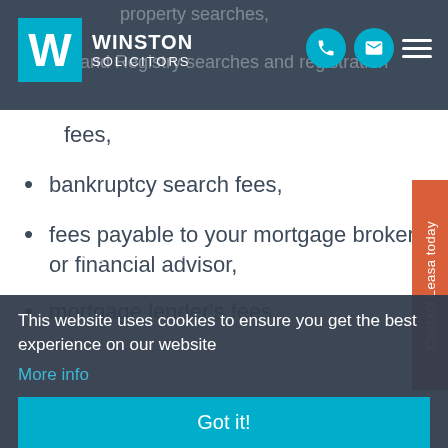Winston Solicitors
Land Registry searches and registration fees,
bankruptcy search fees,
fees payable to your mortgage broker or financial advisor,
mortgage lender's fees,
conveyancing fees; and
removal costs.
This website uses cookies to ensure you get the best experience on our website
More info
Got it!
Using a Help to Buy ISA account